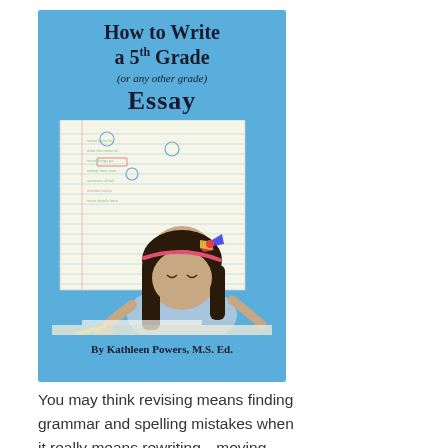[Figure (illustration): Book cover for 'How to Write a 5th Grade (or any other grade) Essay' by Kathleen Powers, M.S. Ed. Blue background with a photo of a young girl writing, overlaid on a notebook paper background.]
You may think revising means finding grammar and spelling mistakes when it really means rewriting—moving ideas around, adding more details, using specific verbs, varying your sentence